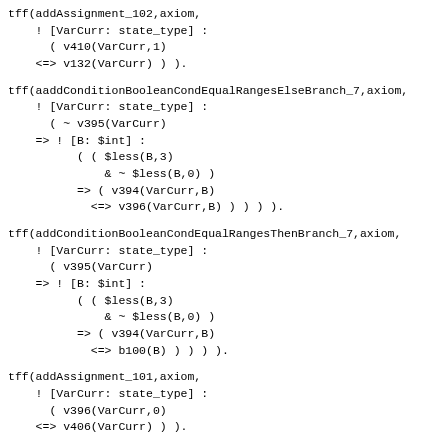tff(addAssignment_102,axiom,
    ! [VarCurr: state_type] :
      ( v410(VarCurr,1)
    <=> v132(VarCurr) ) ).
tff(aaddConditionBooleanCondEqualRangesElseBranch_7,axiom,
    ! [VarCurr: state_type] :
      ( ~ v395(VarCurr)
    => ! [B: $int] :
          ( ( $less(B,3)
              & ~ $less(B,0) )
          => ( v394(VarCurr,B)
            <=> v396(VarCurr,B) ) ) ) ).
tff(addConditionBooleanCondEqualRangesThenBranch_7,axiom,
    ! [VarCurr: state_type] :
      ( v395(VarCurr)
    => ! [B: $int] :
          ( ( $less(B,3)
              & ~ $less(B,0) )
          => ( v394(VarCurr,B)
            <=> b100(B) ) ) ) ).
tff(addAssignment_101,axiom,
    ! [VarCurr: state_type] :
      ( v396(VarCurr,0)
    <=> v406(VarCurr) ) ).
tff(addAssignment_100,axiom,
    ! [VarCurr: state_type] :